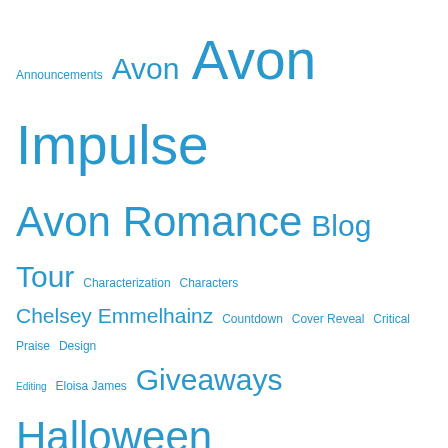Announcements Avon Avon Impulse Avon Romance Blog Tour Characterization Characters Chelsey Emmelhainz Countdown Cover Reveal Critical Praise Design Editing Eloisa James Giveaways Halloween HarperCollins Jack O'Lanterns Julie Anne Long Michael Boccacino Midnight In Your Arms Novella October Releases Paperback Edition Print Edition Publishers Weekly Reviews Romance Social Media The Call Worksheets Writing Writing Exercises Writing Life
Nose Deep in a Book!